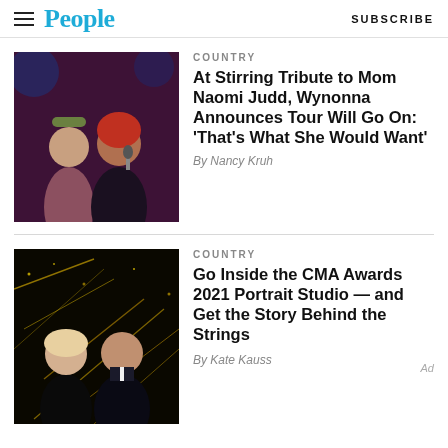People | SUBSCRIBE
[Figure (photo): Two women on stage, one with dark hair wearing a floral crown and dusty pink dress, another with red hair holding a microphone in a black outfit]
COUNTRY
At Stirring Tribute to Mom Naomi Judd, Wynonna Announces Tour Will Go On: 'That's What She Would Want'
By Nancy Kruh
[Figure (photo): A blonde woman in a black evening gown and a man in a tuxedo posing in front of a glittery background]
COUNTRY
Go Inside the CMA Awards 2021 Portrait Studio — and Get the Story Behind the Strings
By Kate Kauss